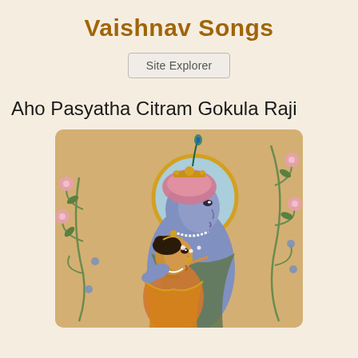Vaishnav Songs
Site Explorer
Aho Pasyatha Citram Gokula Raji
[Figure (illustration): Traditional Indian painting of Krishna and Radha. Krishna is shown in blue skin with ornate headdress and peacock feather, playing a flute, with a circular golden and blue halo behind him. Radha is shown in orange/golden clothing with jewelry, leaning into Krishna. Decorative flowering vines with pink and blue flowers adorn the background on a golden/beige canvas.]